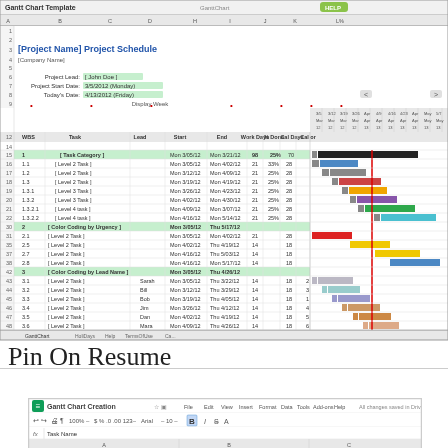[Figure (screenshot): Gantt Chart Template spreadsheet in Google Sheets showing a project schedule with task categories, WBS numbers, leads, start/end dates, work days, percent done, calendar days, and a Gantt chart visualization with colored bars on the right side. Rows include Task Category, Level 2 Tasks (1.1–1.3), Level 3 Tasks (1.3.1, 1.3.2), Level 4 Tasks (1.3.2.1, 1.3.2.2), and Color Coding by Urgency and Color Coding by Lead Name sections with multiple sub-tasks.]
Pin On Resume
[Figure (screenshot): Google Sheets toolbar screenshot showing the Gantt Chart Creation file open with menu bar (File, Edit, View, Insert, Format, Data, Tools, Add-ons, Help), formatting toolbar with Bold button highlighted, and formula bar showing 'Task Name'.]